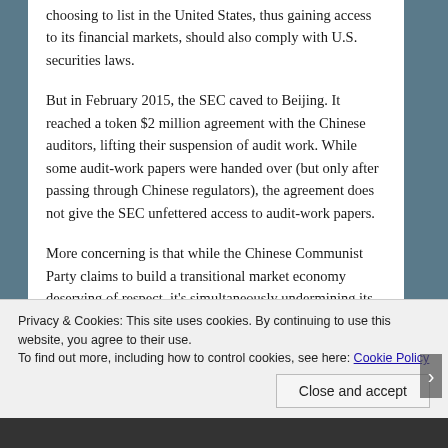choosing to list in the United States, thus gaining access to its financial markets, should also comply with U.S. securities laws.
But in February 2015, the SEC caved to Beijing. It reached a token $2 million agreement with the Chinese auditors, lifting their suspension of audit work. While some audit-work papers were handed over (but only after passing through Chinese regulators), the agreement does not give the SEC unfettered access to audit-work papers.
More concerning is that while the Chinese Communist Party claims to build a transitional market economy deserving of respect, it's simultaneously undermining its credibility. China forces U.S. companies operating there to adhere to its rules, while barring U.S.-listed Chinese companies from following
Privacy & Cookies: This site uses cookies. By continuing to use this website, you agree to their use.
To find out more, including how to control cookies, see here: Cookie Policy
Close and accept